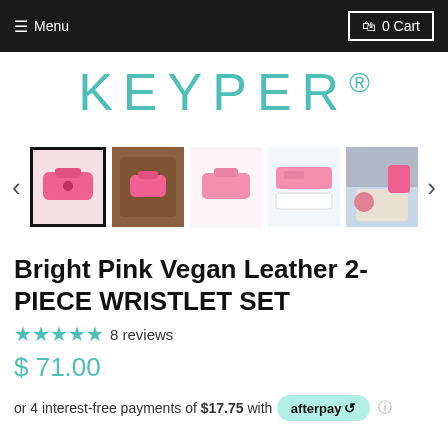Menu  0 Cart
[Figure (logo): KEYPER® brand logo in teal/turquoise color]
[Figure (photo): Product image gallery showing 5 thumbnails of bright pink vegan leather wristlet set with left and right navigation arrows. First image is selected with a black border.]
Bright Pink Vegan Leather 2-PIECE WRISTLET SET
★★★★★ 8 reviews
$71.00
or 4 interest-free payments of $17.75 with afterpay